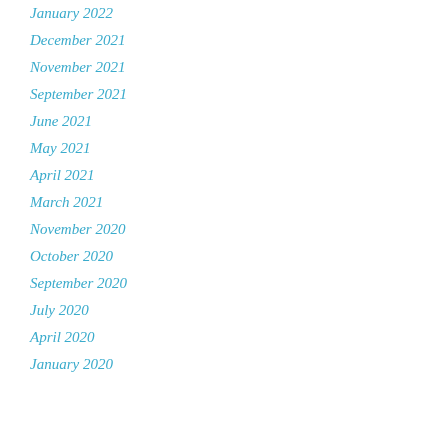January 2022
December 2021
November 2021
September 2021
June 2021
May 2021
April 2021
March 2021
November 2020
October 2020
September 2020
July 2020
April 2020
January 2020